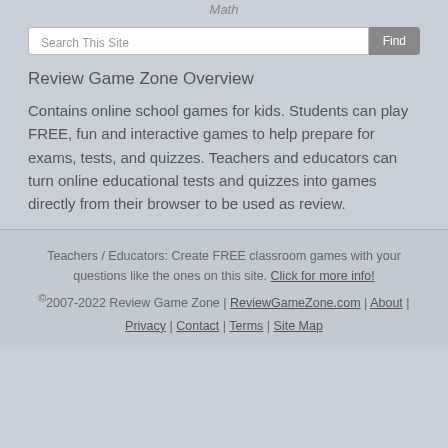Math
Search This Site  Find
Review Game Zone Overview
Contains online school games for kids. Students can play FREE, fun and interactive games to help prepare for exams, tests, and quizzes. Teachers and educators can turn online educational tests and quizzes into games directly from their browser to be used as review.
Teachers / Educators: Create FREE classroom games with your questions like the ones on this site. Click for more info! ©2007-2022 Review Game Zone | ReviewGameZone.com | About | Privacy | Contact | Terms | Site Map